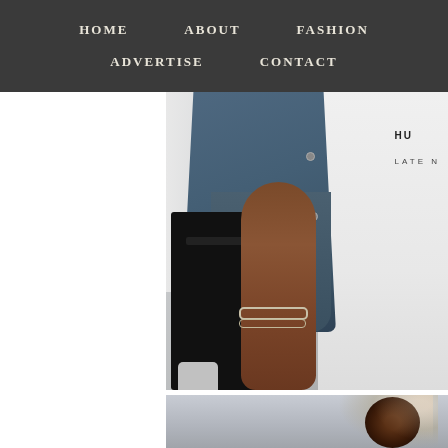HOME   ABOUT   FASHION   ADVERTISE   CONTACT
[Figure (photo): Fashion photo showing a person wearing a denim jacket over a white graphic T-shirt, holding a black bag, with a silver bracelet on their wrist. Cropped to show torso and arm only.]
[Figure (photo): Second fashion photo showing a person with a dark hair bun, partially visible from below. Light outdoor background.]